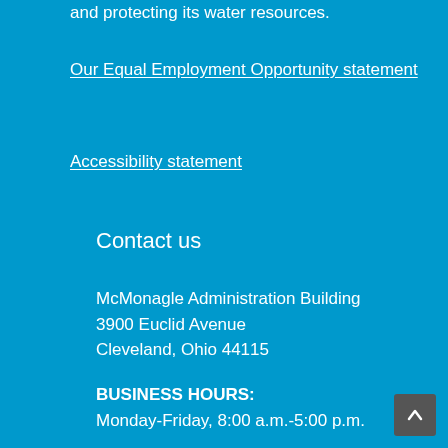and protecting its water resources.
Our Equal Employment Opportunity statement
Accessibility statement
Contact us
McMonagle Administration Building
3900 Euclid Avenue
Cleveland, Ohio 44115
BUSINESS HOURS:
Monday-Friday, 8:00 a.m.-5:00 p.m.